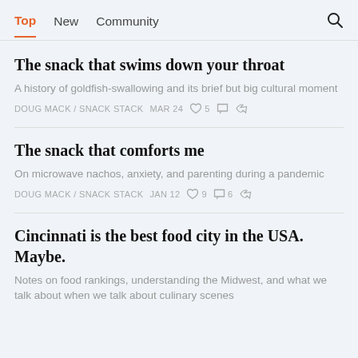Top  New  Community
The snack that swims down your throat
A history of goldfish-swallowing and its brief but big cultural moment
DOUG MACK / SNACK STACK   MAR 24   ♡ 5   💬   ↗
The snack that comforts me
On microwave nachos, anxiety, and parenting during a pandemic
DOUG MACK / SNACK STACK   JAN 12   ♡ 9   💬 6   ↗
Cincinnati is the best food city in the USA. Maybe.
Notes on food rankings, understanding the Midwest, and what we talk about when we talk about culinary scenes